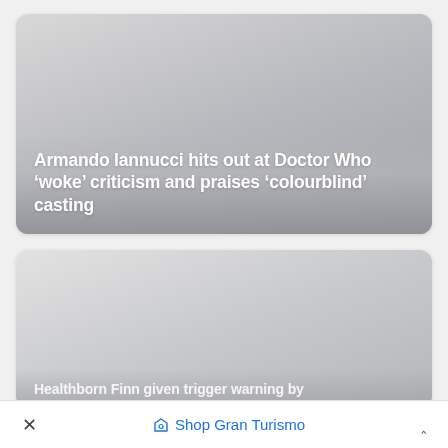[Figure (screenshot): News article card with gradient grey background image placeholder]
Armando Iannucci hits out at Doctor Who ‘woke’ criticism and praises ‘colourblind’ casting
[Figure (screenshot): Second news article card with gradient grey background image placeholder, partially visible text at bottom]
Healthborn Finn given trigger warning by
×   ♦ Shop Gran Turismo   ˄